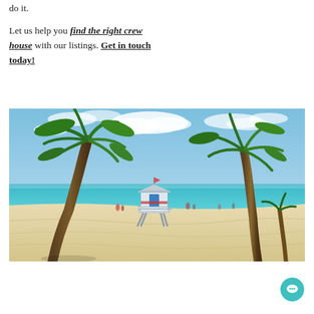do it.
Let us help you find the right crew house with our listings. Get in touch today!
[Figure (photo): A tropical beach scene with tall palm trees, white sand, turquoise ocean water, blue sky with clouds, and a white lifeguard stand/booth in the center background. People are visible in the far background.]